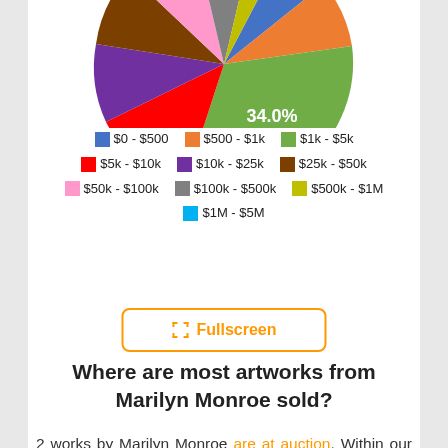[Figure (pie-chart): Price distribution chart (partial)]
Legend: $0 - $500, $500 - $1k, $1k - $5k, $5k - $10k, $10k - $25k, $25k - $50k, $50k - $100k, $100k - $500k, $500k - $1M, $1M - $5M
Fullscreen
Where are most artworks from Marilyn Monroe sold?
2 works by Marilyn Monroe are at auction. Within our Archive you will find 5487 works, 3198 of them